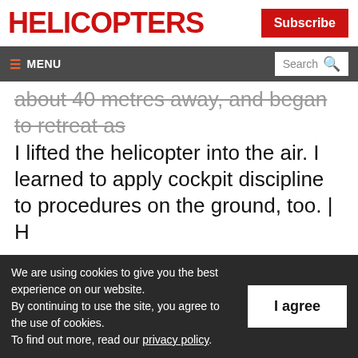HELICOPTERS
Subscribe
≡ MENU  Search 🔍
about 40 metres away, and began to retreat as I lifted the helicopter into the air. I learned to apply cockpit discipline to procedures on the ground, too. | H
Fred Jones is CEO of the Helicopter Association
We are using cookies to give you the best experience on our website.
By continuing to use the site, you agree to the use of cookies.
To find out more, read our privacy policy.
I agree